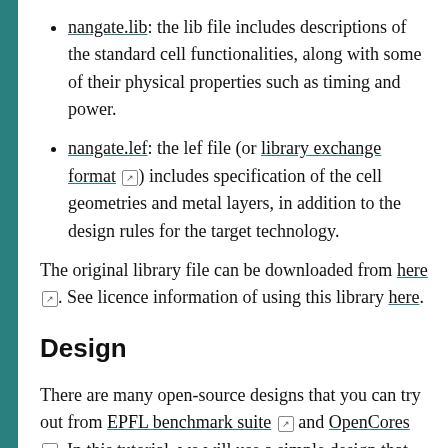nangate.lib: the lib file includes descriptions of the standard cell functionalities, along with some of their physical properties such as timing and power.
nangate.lef: the lef file (or library exchange format [link]) includes specification of the cell geometries and metal layers, in addition to the design rules for the target technology.
The original library file can be downloaded from here [link]. See licence information of using this library here.
Design
There are many open-source designs that you can try out from EPFL benchmark suite [link] and OpenCores [link]. In this tutorial, we will use a simple design that calculates the